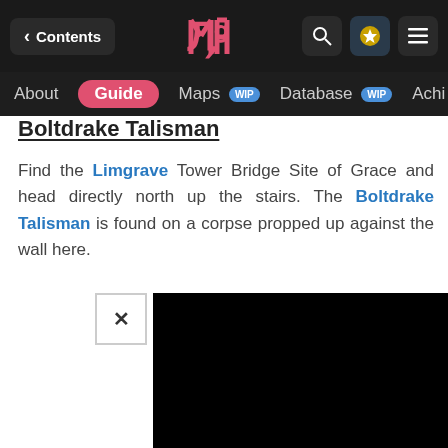Contents | Guide | Maps WIP | Database WIP | Achi...
Boltdrake Talisman
Find the Limgrave Tower Bridge Site of Grace and head directly north up the stairs. The Boltdrake Talisman is found on a corpse propped up against the wall here.
[Figure (screenshot): Black screenshot/video area with a close button (×) in the upper-left corner]